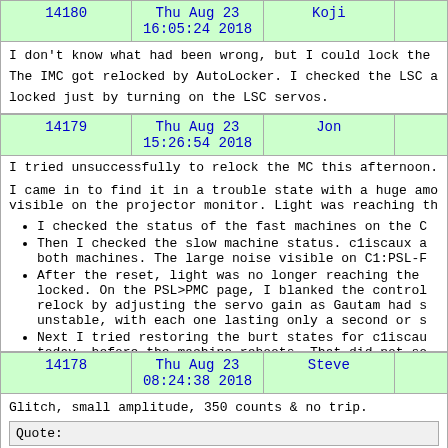| 14180 | Thu Aug 23 16:05:24 2018 | Koji |  |
| --- | --- | --- | --- |
I don't know what had been wrong, but I could lock the The IMC got relocked by AutoLocker. I checked the LSC a locked just by turning on the LSC servos.
| 14179 | Thu Aug 23 15:26:54 2018 | Jon |  |
| --- | --- | --- | --- |
I tried unsuccessfully to relock the MC this afternoon.
I came in to find it in a trouble state with a huge amo visible on the projector monitor. Light was reaching th
I checked the status of the fast machines on the C
Then I checked the slow machine status. c1iscaux a both machines. The large noise visible on C1:PSL-F
After the reset, light was no longer reaching the locked. On the PSL>PMC page, I blanked the control relock by adjusting the servo gain as Gautam had s unstable, with each one lasting only a second or s
Next I tried restoring the burt states for c1iscau today, before the machine reboots. That did not so
| 14178 | Thu Aug 23 08:24:38 2018 | Steve |  |
| --- | --- | --- | --- |
Glitch, small amplitude, 350 counts  &  no trip.
Quote: